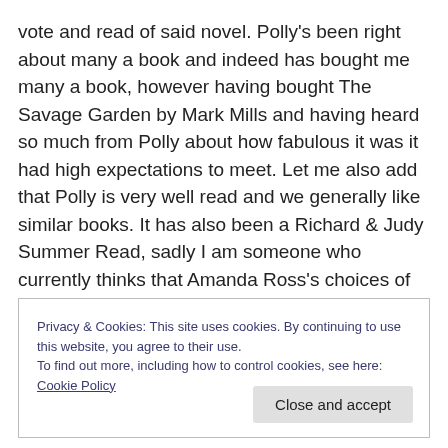vote and read of said novel. Polly's been right about many a book and indeed has bought me many a book, however having bought The Savage Garden by Mark Mills and having heard so much from Polly about how fabulous it was it had high expectations to meet. Let me also add that Polly is very well read and we generally like similar books. It has also been a Richard & Judy Summer Read, sadly I am someone who currently thinks that Amanda Ross's choices of books are generally good ones too, another person who's job I would kill for.
Privacy & Cookies: This site uses cookies. By continuing to use this website, you agree to their use. To find out more, including how to control cookies, see here: Cookie Policy